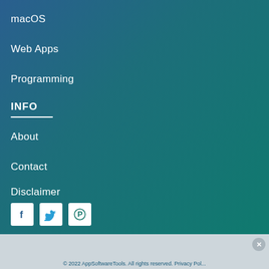macOS
Web Apps
Programming
INFO
About
Contact
Disclaimer
[Figure (other): Social media icons: Facebook, Twitter, Pinterest]
© 2022 AppSoftwareTools. All rights reserved. Privacy Pol...